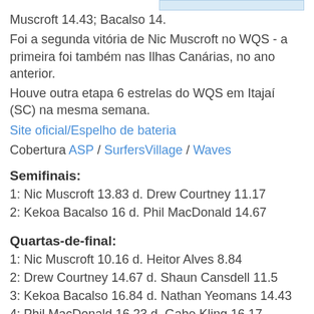Muscroft 14.43; Bacalso 14.
Foi a segunda vitória de Nic Muscroft no WQS - a primeira foi também nas Ilhas Canárias, no ano anterior.
Houve outra etapa 6 estrelas do WQS em Itajaí (SC) na mesma semana.
Site oficial/Espelho de bateria
Cobertura ASP / SurfersVillage / Waves
Semifinais:
1: Nic Muscroft 13.83 d. Drew Courtney 11.17
2: Kekoa Bacalso 16 d. Phil MacDonald 14.67
Quartas-de-final:
1: Nic Muscroft 10.16 d. Heitor Alves 8.84
2: Drew Courtney 14.67 d. Shaun Cansdell 11.5
3: Kekoa Bacalso 16.84 d. Nathan Yeomans 14.43
4: Phil MacDonald 16.23 d. Gabe Kling 16.17
Round 5
1: Heitor Alves 16.27 d. Austin Ware 10.17
2: Nic Muscroft 15.36 d. Adam Robertson 12.94
3: Drew Courtney 16.84 d. Robbie Alves 13.83